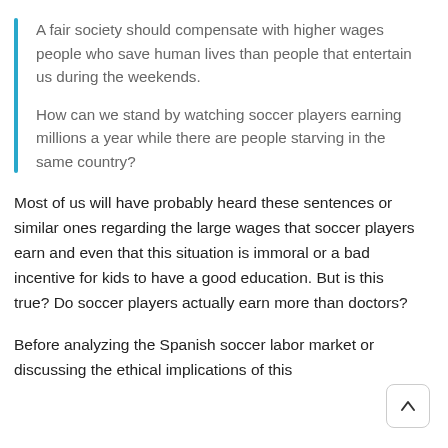A fair society should compensate with higher wages people who save human lives than people that entertain us during the weekends.

How can we stand by watching soccer players earning millions a year while there are people starving in the same country?
Most of us will have probably heard these sentences or similar ones regarding the large wages that soccer players earn and even that this situation is immoral or a bad incentive for kids to have a good education. But is this true? Do soccer players actually earn more than doctors?
Before analyzing the Spanish soccer labor market or discussing the ethical implications of this